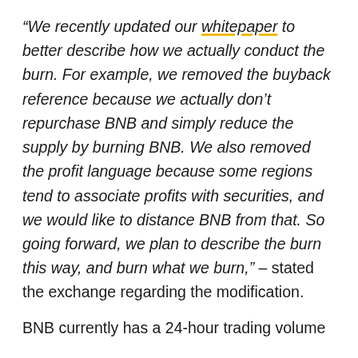“We recently updated our whitepaper to better describe how we actually conduct the burn. For example, we removed the buyback reference because we actually don’t repurchase BNB and simply reduce the supply by burning BNB. We also removed the profit language because some regions tend to associate profits with securities, and we would like to distance BNB from that. So going forward, we plan to describe the burn this way, and burn what we burn,” – stated the exchange regarding the modification.
BNB currently has a 24-hour trading volume